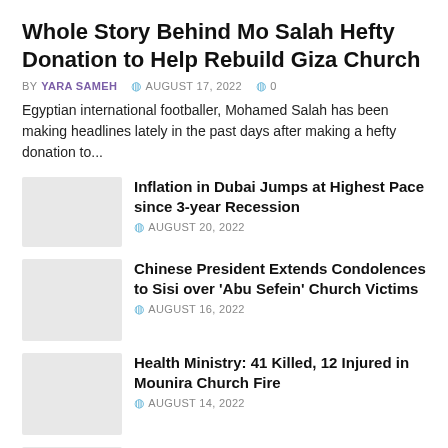Whole Story Behind Mo Salah Hefty Donation to Help Rebuild Giza Church
BY YARA SAMEH  AUGUST 17, 2022  0
Egyptian international footballer, Mohamed Salah has been making headlines lately in the past days after making a hefty donation to...
Inflation in Dubai Jumps at Highest Pace since 3-year Recession
AUGUST 20, 2022
Chinese President Extends Condolences to Sisi over 'Abu Sefein' Church Victims
AUGUST 16, 2022
Health Ministry: 41 Killed, 12 Injured in Mounira Church Fire
AUGUST 14, 2022
TikTok Introduces Basic Text-to-image Feature
AUGUST 17, 2022